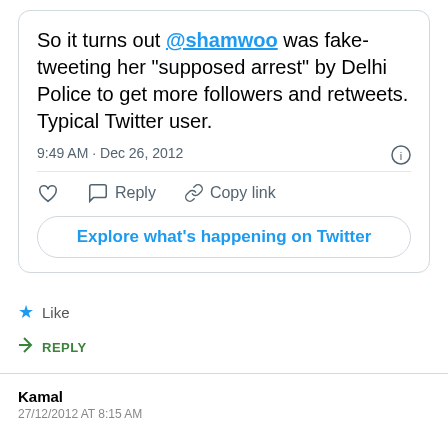So it turns out @shamwoo was fake-tweeting her "supposed arrest" by Delhi Police to get more followers and retweets. Typical Twitter user.
9:49 AM · Dec 26, 2012
Like
REPLY
Kamal
27/12/2012 AT 8:15 AM